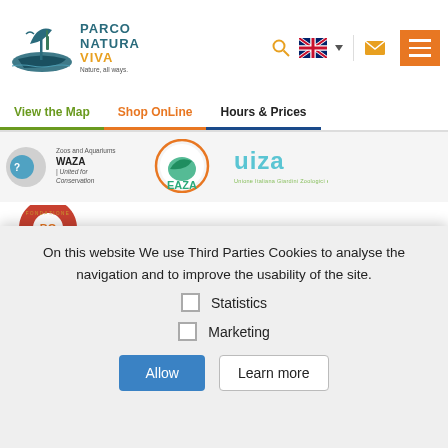[Figure (logo): Parco Natura Viva logo with stylized boat/animals illustration and text 'PARCO NATURA VIVA Nature, all ways.']
[Figure (screenshot): Header icons: hamburger menu (orange), search icon, UK flag with dropdown, email envelope icon]
View the Map  Shop OnLine  Hours & Prices
[Figure (logo): Partner logos strip: WAZA United for Conservation, EAZA, UIZA]
[Figure (logo): Fondazione logo (partial)]
On this website We use Third Parties Cookies to analyse the navigation and to improve the usability of the site.
Statistics
Marketing
Allow  Learn more